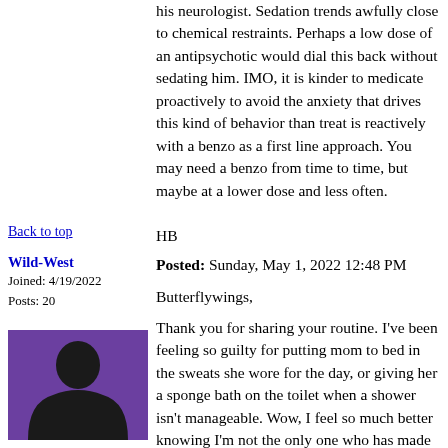his neurologist. Sedation trends awfully close to chemical restraints. Perhaps a low dose of an antipsychotic would dial this back without sedating him. IMO, it is kinder to medicate proactively to avoid the anxiety that drives this kind of behavior than treat is reactively with a benzo as a first line approach. You may need a benzo from time to time, but maybe at a lower dose and less often.

HB
Back to top
Wild-West
Joined: 4/19/2022
Posts: 20
Posted: Sunday, May 1, 2022 12:48 PM
[Figure (illustration): User avatar: silhouette of a person against a purple background]
Butterflywings,

Thank you for sharing your routine. I've been feeling so guilty for putting mom to bed in the sweats she wore for the day, or giving her a sponge bath on the toilet when a shower isn't manageable. Wow, I feel so much better knowing I'm not the only one who has made those adjustments!  She's clean, dry, and comfortable, but we get there differently these